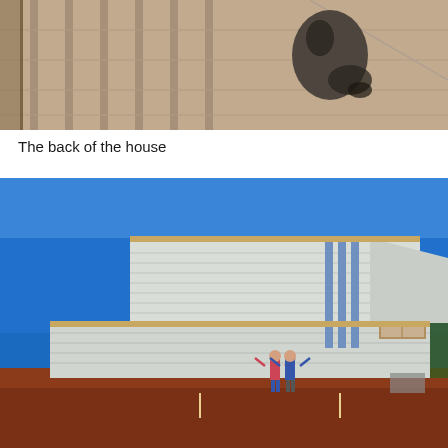[Figure (photo): Aerial or overhead view of people on a wooden deck or porch with shadows cast by railings on a sandy/concrete ground surface below. A person with a stroller or wheelchair is visible from above.]
The back of the house
[Figure (photo): Exterior photo of a house under construction showing the back of the house. The walls are wrapped in Tyvek house wrap with blue sky above. Two people stand in front of the building with their arms raised. The ground is red dirt/clay. Trees are visible in the background on the right side.]